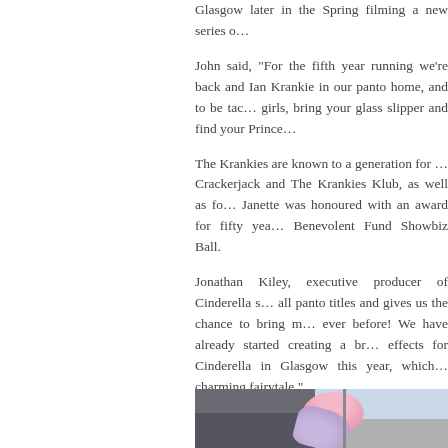Glasgow later in the Spring filming a new series o…
John said, "For the fifth year running we're back and Ian Krankie in our panto home, and to be tac… girls, bring your glass slipper and find your Prince…
The Krankies are known to a generation for … Crackerjack and The Krankies Klub, as well as fo… Janette was honoured with an award for fifty yea… Benevolent Fund Showbiz Ball.
Jonathan Kiley, executive producer of Cinderella s… all panto titles and gives us the chance to bring m… ever before! We have already started creating a br… effects for Cinderella in Glasgow this year, which… charming fairytale."
Allan Snedden, Head of Concert and Events, Sl… Krankies and cast for a fifth time to the Clyde A… run later this year."
[Figure (photo): Outdoor photo showing a dark barn or building in the background with a light blue sky, and what appears to be large pink and lavender floral or costume decorations in the foreground near a pole.]